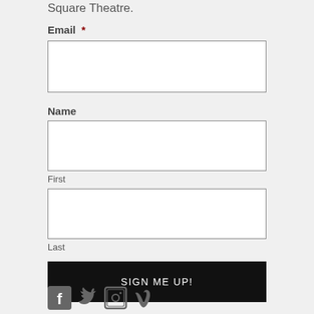Square Theatre.
Email *
Name
First
Last
SIGN ME UP!
[Figure (illustration): Social media icons: Facebook, Twitter, Instagram, Vimeo]